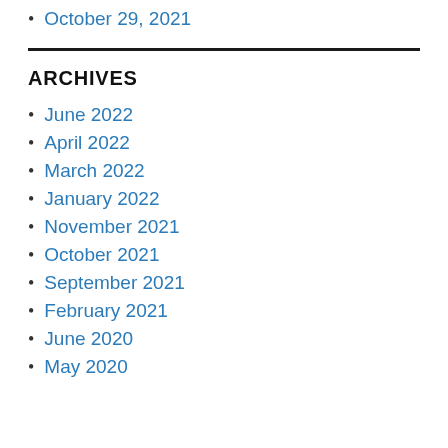October 29, 2021
ARCHIVES
June 2022
April 2022
March 2022
January 2022
November 2021
October 2021
September 2021
February 2021
June 2020
May 2020